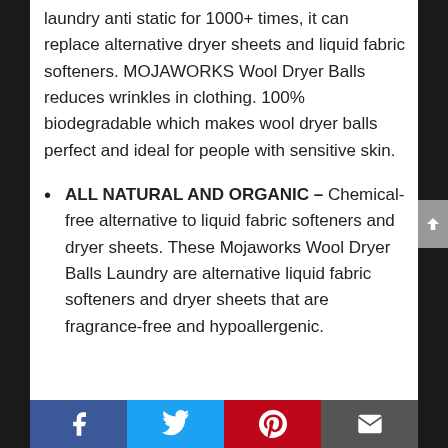laundry anti static for 1000+ times, it can replace alternative dryer sheets and liquid fabric softeners. MOJAWORKS Wool Dryer Balls reduces wrinkles in clothing. 100% biodegradable which makes wool dryer balls perfect and ideal for people with sensitive skin.
ALL NATURAL AND ORGANIC – Chemical-free alternative to liquid fabric softeners and dryer sheets. These Mojaworks Wool Dryer Balls Laundry are alternative liquid fabric softeners and dryer sheets that are fragrance-free and hypoallergenic.